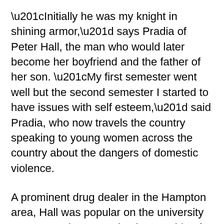“Initially he was my knight in shining armor,” says Pradia of Peter Hall, the man who would later become her boyfriend and the father of her son. “My first semester went well but the second semester I started to have issues with self esteem,” said Pradia, who now travels the country speaking to young women across the country about the dangers of domestic violence.
A prominent drug dealer in the Hampton area, Hall was popular on the university campus and appeared to be capable of everything but the mental and physical abuse he would later inflict. “I wondered who he was because it seemed like everyone wanted to be around him at the time,” said Pradia, who was misled by Hall’s character in part because students who were “successful and